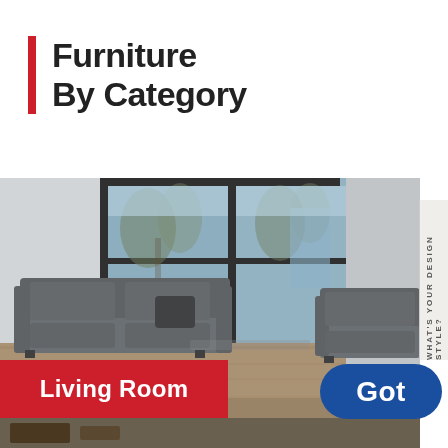Furniture By Category
[Figure (photo): Modern living room interior with large floor-to-ceiling windows, two dark grey leather sofas, and a view of trees outside. Blurred/depth-of-field style photography.]
Living Room
WHAT'S YOUR DESIGN STYLE?
Got